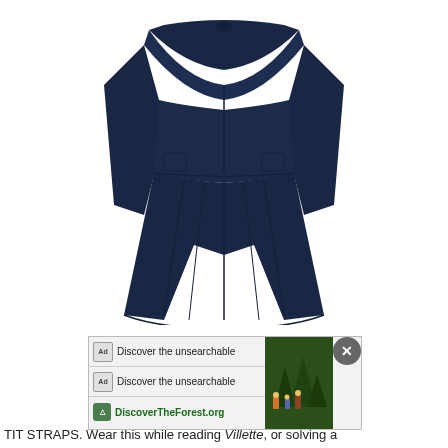[Figure (photo): A navy blue off-shoulder A-line coat dress with pleated skirt, displayed on white background. The coat features a wide folded collar/cape overlay at the shoulders, long sleeves, fitted waist, and a flared pleated skirt that falls to knee length. The garment is photographed as a flat lay or on an invisible mannequin.]
[Figure (screenshot): Advertisement banner showing three rows: two rows each with 'Ad' icon, text 'Discover the unsearchable' with microphone icon, and a forest photo on the right with a close button. Third row shows a US Forest Service shield icon and text 'DiscoverTheForest.org' in bold green.]
TIT STRAPS. Wear this while reading Villette, or solving a